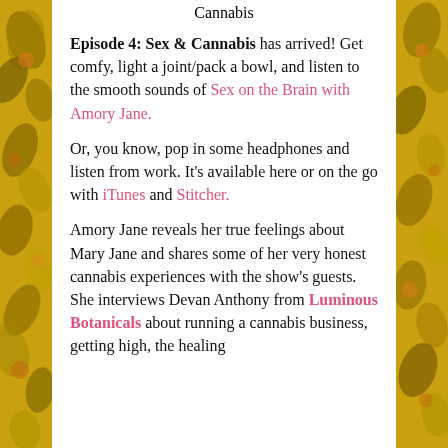Cannabis
Episode 4: Sex & Cannabis has arrived! Get comfy, light a joint/pack a bowl, and listen to the smooth sounds of Sex on the Brain with Amory Jane.
Or, you know, pop in some headphones and listen from work. It's available here or on the go with iTunes and Stitcher.
Amory Jane reveals her true feelings about Mary Jane and shares some of her very honest cannabis experiences with the show's guests. She interviews Devan Anthony from Luminous Botanicals about running a cannabis business, getting high, the healing